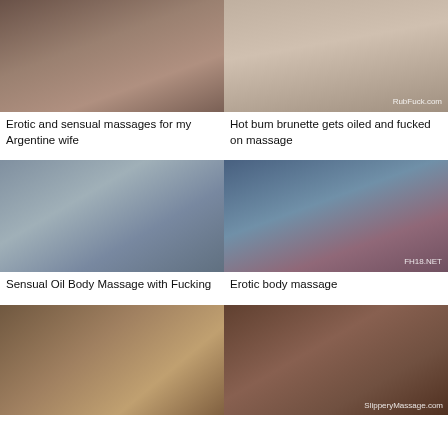[Figure (photo): Video thumbnail: erotic massage scene]
Erotic and sensual massages for my Argentine wife
[Figure (photo): Video thumbnail: massage scene with watermark RubFuck.com]
Hot bum brunette gets oiled and fucked on massage
[Figure (photo): Video thumbnail: oil body massage scene]
Sensual Oil Body Massage with Fucking
[Figure (photo): Video thumbnail: erotic body massage with watermark FH18.NET]
Erotic body massage
[Figure (photo): Video thumbnail: adult scene]
[Figure (photo): Video thumbnail: massage scene with watermark SlipperyMassage.com]